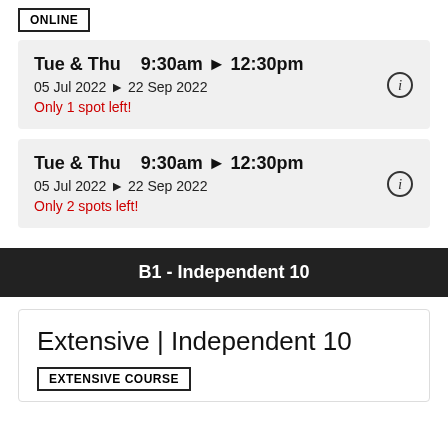ONLINE
Tue & Thu   9:30am ▶ 12:30pm
05 Jul 2022 ▶ 22 Sep 2022
Only 1 spot left!
Tue & Thu   9:30am ▶ 12:30pm
05 Jul 2022 ▶ 22 Sep 2022
Only 2 spots left!
B1 - Independent 10
Extensive | Independent 10
EXTENSIVE COURSE